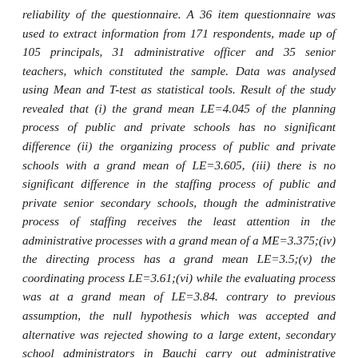reliability of the questionnaire. A 36 item questionnaire was used to extract information from 171 respondents, made up of 105 principals, 31 administrative officer and 35 senior teachers, which constituted the sample. Data was analysed using Mean and T-test as statistical tools. Result of the study revealed that (i) the grand mean LE=4.045 of the planning process of public and private schools has no significant difference (ii) the organizing process of public and private schools with a grand mean of LE=3.605, (iii) there is no significant difference in the staffing process of public and private senior secondary schools, though the administrative process of staffing receives the least attention in the administrative processes with a grand mean of a ME=3.375;(iv) the directing process has a grand mean LE=3.5;(v) the coordinating process LE=3.61;(vi) while the evaluating process was at a grand mean of LE=3.84. contrary to previous assumption, the null hypothesis which was accepted and alternative was rejected showing to a large extent, secondary school administrators in Bauchi carry out administrative processes in line with known practices and are similar to the administrative standards. It